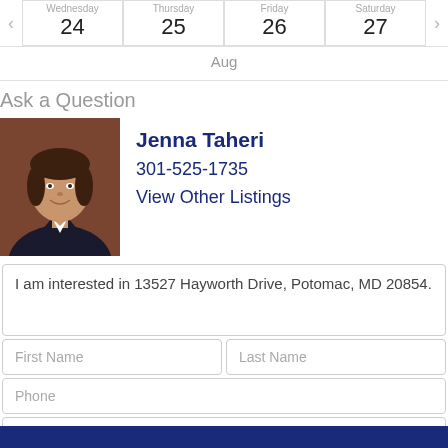| Wednesday | Thursday | Friday | Saturday |
| --- | --- | --- | --- |
| 24 | 25 | 26 | 27 |
Aug
Ask a Question
[Figure (photo): Photo of real estate agent Jenna Taheri, a woman in a dark blazer with brown background]
Jenna Taheri
301-525-1735
View Other Listings
I am interested in 13527 Hayworth Drive, Potomac, MD 20854.
First Name
Last Name
Phone
email@example.com
Request Info